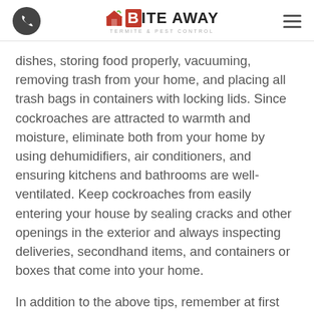Bite Away Termite & Pest Control
dishes, storing food properly, vacuuming, removing trash from your home, and placing all trash bags in containers with locking lids. Since cockroaches are attracted to warmth and moisture, eliminate both from your home by using dehumidifiers, air conditioners, and ensuring kitchens and bathrooms are well-ventilated. Keep cockroaches from easily entering your house by sealing cracks and other openings in the exterior and always inspecting deliveries, secondhand items, and containers or boxes that come into your home.
In addition to the above tips, remember at first sight of these dangerous and unwanted insects in your home, contact Bite Away...